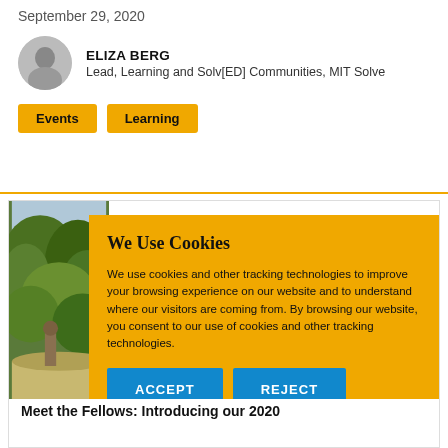September 29, 2020
ELIZA BERG
Lead, Learning and Solv[ED] Communities, MIT Solve
Events
Learning
[Figure (photo): Outdoor nature photo with trees and foliage]
We Use Cookies
We use cookies and other tracking technologies to improve your browsing experience on our website and to understand where our visitors are coming from. By browsing our website, you consent to our use of cookies and other tracking technologies.
ACCEPT  REJECT
Meet the Fellows: Introducing our 2020